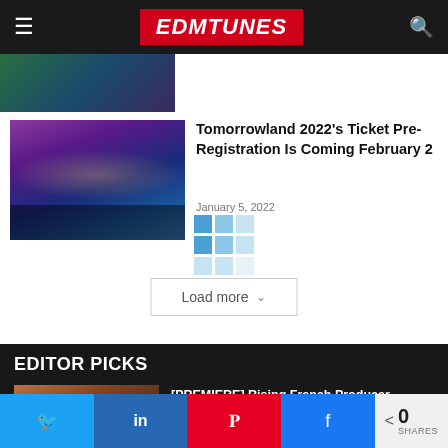EDMTUNES
[Figure (photo): Partial top image strip - festival/concert scene]
[Figure (photo): Tomorrowland festival stage with colorful lights and crowd]
Tomorrowland 2022's Ticket Pre-Registration Is Coming February 2
January 5, 2022
Load more
EDITOR PICKS
[Figure (photo): Clouds at sunset - orange and dark tones]
[PREMIERE] Rising French Producer AUGUSTE Releases Melodic Track 'Together'
Twitter  LinkedIn  Pinterest  Facebook  0 SHARES